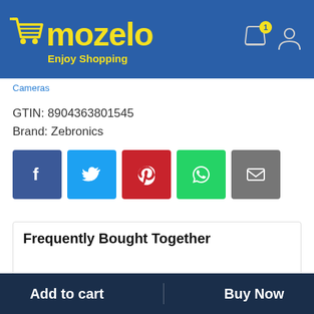[Figure (logo): Mozelo e-commerce logo with shopping cart icon, yellow text on blue background, tagline 'Enjoy Shopping']
Cameras
GTIN: 8904363801545
Brand: Zebronics
[Figure (illustration): Social sharing buttons: Facebook (blue), Twitter (light blue), Pinterest (red), WhatsApp (green), Email (grey)]
Frequently Bought Together
[Figure (photo): Partial image of a camera product (grey/silver, cropped)]
Add to cart
Buy Now